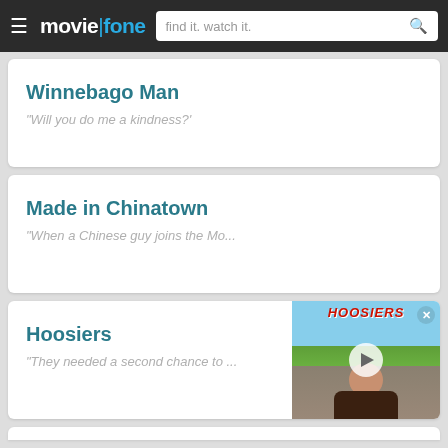moviefone — find it. watch it.
Winnebago Man
"Will you do me a kindness?'
Made in Chinatown
"When a Chinese guy joins the Mo...
Hoosiers
"They needed a second chance to ...
[Figure (screenshot): Thumbnail image for Hoosiers movie showing a man outdoors with green hills and blue sky, with HOOSIERS text in red at the top, a play button in the center, and a close (X) button in the top right corner.]